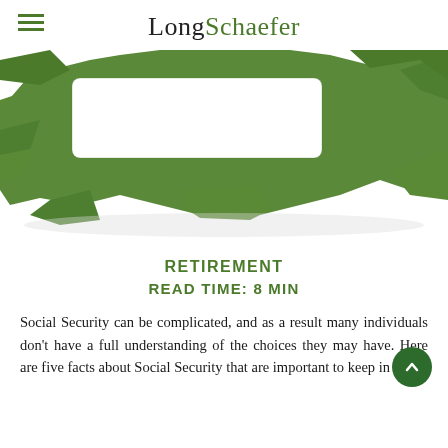LongSchaefer
[Figure (photo): Abstract green paper or foam shapes with cutout rectangular window, arranged in an angular geometric pattern against a white background.]
RETIREMENT
READ TIME: 8 MIN
Social Security can be complicated, and as a result many individuals don't have a full understanding of the choices they may have. Here are five facts about Social Security that are important to keep in mind.